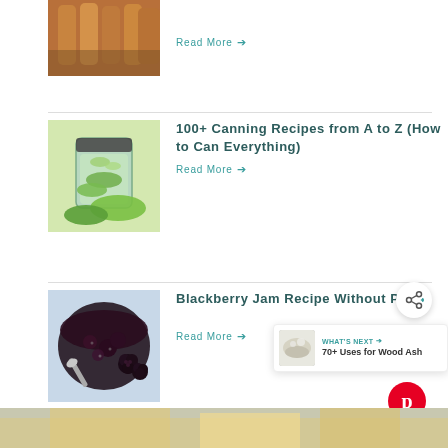[Figure (photo): Partial view of preserved food jars/carrots at top of page]
Read More →
[Figure (photo): Glass jar with pickled cucumbers and fresh cucumbers on a table]
100+ Canning Recipes from A to Z (How to Can Everything)
Read More →
[Figure (photo): Bowl of blackberry jam with fresh blackberries and a spoon]
Blackberry Jam Recipe Without Pectin
Read More →
WHAT'S NEXT → 70+ Uses for Wood Ash
[Figure (photo): Partial bottom image, golden/yellow tones]